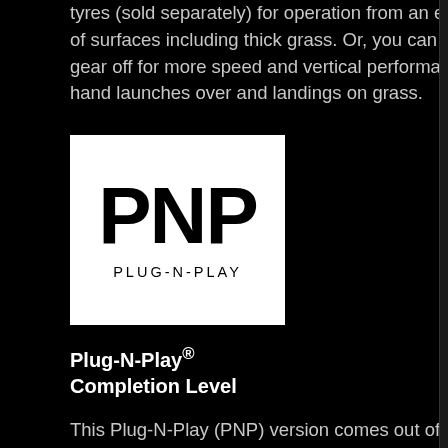tyres (sold separately) for operation from an even wider variety of surfaces including thick grass. Or, you can leave the landing gear off for more speed and vertical performance plus easy hand launches over and landings on grass.
[Figure (logo): PNP Plug-N-Play logo: white rectangle with large bold black letters PNP and below it the text PLUG-N-PLAY in spaced capitals]
Plug-N-Play® Completion Level
This Plug-N-Play (PNP) version comes out of the box with a factory-installed power system and servos that are ready to connect to the compatible receiver of your